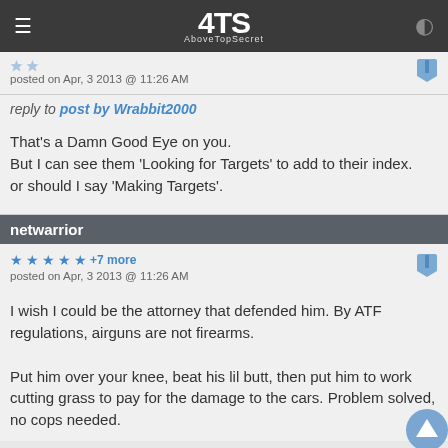AboveTopSecret
posted on Apr, 3 2013 @ 11:26 AM
reply to post by Wrabbit2000
That's a Damn Good Eye on you.
But I can see them 'Looking for Targets' to add to their index.
or should I say 'Making Targets'.
netwarrior
★ ★ ★ ★ ★ +7 more
posted on Apr, 3 2013 @ 11:26 AM
I wish I could be the attorney that defended him. By ATF regulations, airguns are not firearms.

Put him over your knee, beat his lil butt, then put him to work cutting grass to pay for the damage to the cars. Problem solved, no cops needed.